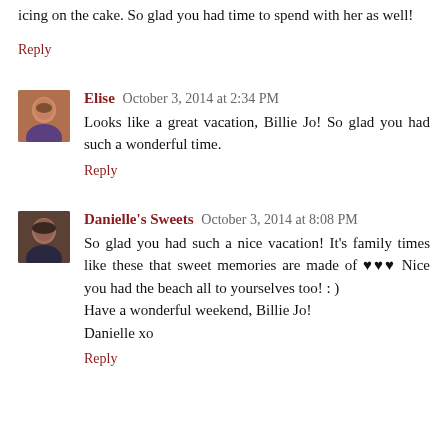icing on the cake. So glad you had time to spend with her as well!
Reply
Elise  October 3, 2014 at 2:34 PM
Looks like a great vacation, Billie Jo! So glad you had such a wonderful time.
Reply
Danielle's Sweets  October 3, 2014 at 8:08 PM
So glad you had such a nice vacation! It's family times like these that sweet memories are made of ♥♥♥ Nice you had the beach all to yourselves too! : )
Have a wonderful weekend, Billie Jo!
Danielle xo
Reply